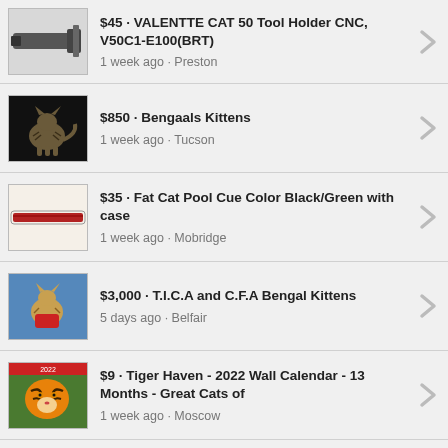$45 · VALENTTE CAT 50 Tool Holder CNC, V50C1-E100(BRT) — 1 week ago · Preston
$850 · Bengaals Kittens — 1 week ago · Tucson
$35 · Fat Cat Pool Cue Color Black/Green with case — 1 week ago · Mobridge
$3,000 · T.I.C.A and C.F.A Bengal Kittens — 5 days ago · Belfair
$9 · Tiger Haven - 2022 Wall Calendar - 13 Months - Great Cats of — 1 week ago · Moscow
$3,000 · TICA and CFA Bengal Kittens — 5 days ago · Olympia